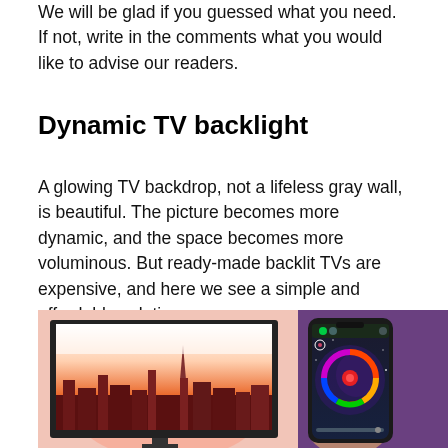We will be glad if you guessed what you need. If not, write in the comments what you would like to advise our readers.
Dynamic TV backlight
A glowing TV backdrop, not a lifeless gray wall, is beautiful. The picture becomes more dynamic, and the space becomes more voluminous. But ready-made backlit TVs are expensive, and here we see a simple and affordable solution.
[Figure (photo): A TV displaying a city skyline at sunset with red/orange backlight glow on the wall behind it, and a hand holding a smartphone showing a color wheel control app with a dark nebula background, on a purple-toned background.]